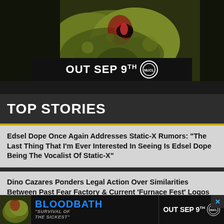[Figure (illustration): Heavy metal album artwork showing grotesque monster creatures in yellowish-green tones with a promotional banner 'OUT SEP 9th' and a circular logo]
TOP STORIES
Edsel Dope Once Again Addresses Static-X Rumors: "The Last Thing That I'm Ever Interested In Seeing Is Edsel Dope Being The Vocalist Of Static-X"
Dino Cazares Ponders Legal Action Over Similarities Between Past Fear Factory & Current 'Furnace Fest' Logos
Polyphia Recruit Deftones' Chino Moreno, Steve Vai And More For N...
[Figure (illustration): Bottom advertisement banner for Bloodbath 'Survival of the Sickest' - OUT SEP 9th with album thumbnail and blue Bloodbath logo text]